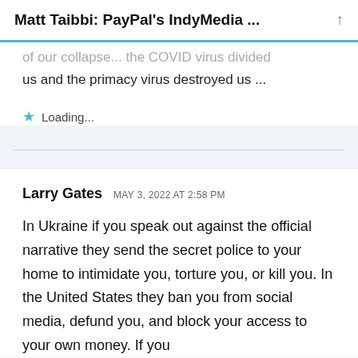Matt Taibbi: PayPal's IndyMedia ...
of our collapse... the COVID virus divided us and the primacy virus destroyed us ...
Loading...
Larry Gates  MAY 3, 2022 AT 2:58 PM
In Ukraine if you speak out against the official narrative they send the secret police to your home to intimidate you, torture you, or kill you. In the United States they ban you from social media, defund you, and block your access to your own money. If you